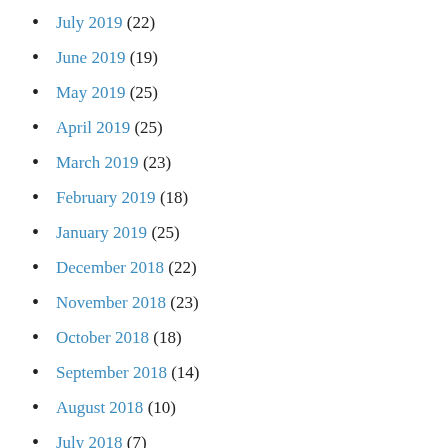July 2019 (22)
June 2019 (19)
May 2019 (25)
April 2019 (25)
March 2019 (23)
February 2019 (18)
January 2019 (25)
December 2018 (22)
November 2018 (23)
October 2018 (18)
September 2018 (14)
August 2018 (10)
July 2018 (7)
June 2018 (16)
May 2018 (16)
April 2018 (18)